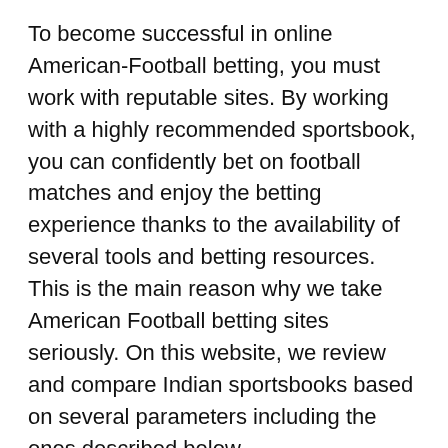To become successful in online American-Football betting, you must work with reputable sites. By working with a highly recommended sportsbook, you can confidently bet on football matches and enjoy the betting experience thanks to the availability of several tools and betting resources. This is the main reason why we take American Football betting sites seriously. On this website, we review and compare Indian sportsbooks based on several parameters including the ones described below.
Security and safety of the bookmakers. We make sure that the Indian sportsbooks that we list on this page are licensed to operate and boasts a fully-encrypted website. A site that's protected by SSL encryption will protect your personal and banking details at all times.
Support for mobile apps or mobile betting experience. We can be busy sometimes, and we